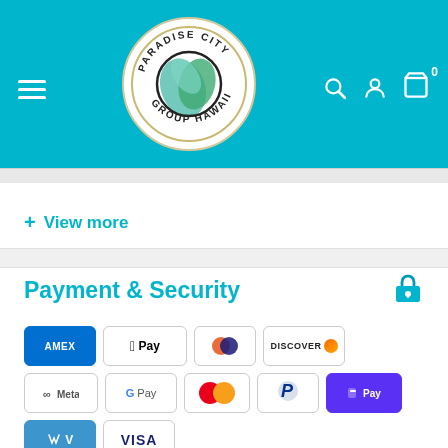[Figure (logo): Paradise City Group Hawaii circular logo with teal/green leaf design on white background, set in a teal navigation header bar with hamburger menu on left and search, account, cart icons on right]
View more
Payment & Security
[Figure (infographic): Payment method logos: AMEX, Apple Pay, Diners Club, Discover, Meta, Google Pay, Mastercard, PayPal, Shop Pay, Venmo, Visa]
Your payment information is processed securely. We do not store credit card details nor have access to your credit card